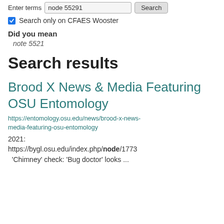Enter terms  node 55291  Search
Search only on CFAES Wooster
Did you mean
note 5521
Search results
Brood X News & Media Featuring OSU Entomology
https://entomology.osu.edu/news/brood-x-news-media-featuring-osu-entomology
2021:
https://bygl.osu.edu/index.php/node/1773
'Chimney' check: 'Bug doctor' looks ...